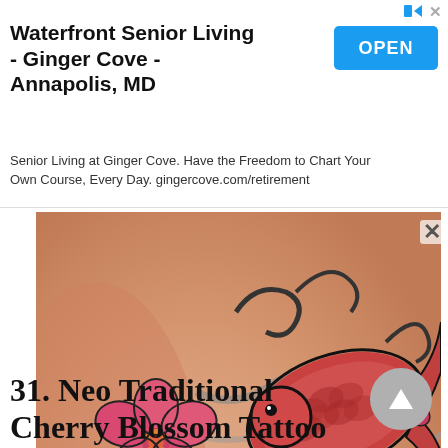[Figure (other): Advertisement banner for Waterfront Senior Living - Ginger Cove - Annapolis, MD with OPEN button]
[Figure (photo): Close-up photograph of a neo traditional cherry blossom and koi fish tattoo on skin, showing pink cherry blossom flowers with green leaves and a colorful koi fish with flowing water elements]
31. Neo Traditional Cherry Blossom Tattoo